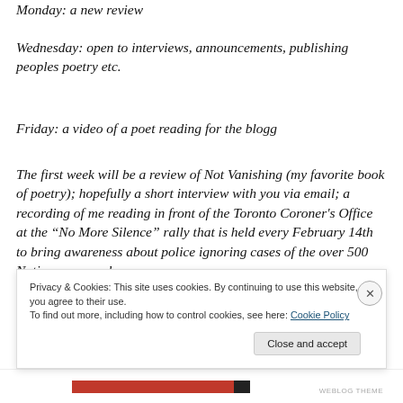Monday: a new review
Wednesday: open to interviews, announcements, publishing peoples poetry etc.
Friday: a video of a poet reading for the blogg
The first week will be a review of Not Vanishing (my favorite book of poetry); hopefully a short interview with you via email; a recording of me reading in front of the Toronto Coroner's Office at the “No More Silence” rally that is held every February 14th to bring awareness about police ignoring cases of the over 500 Native women who
Privacy & Cookies: This site uses cookies. By continuing to use this website, you agree to their use.
To find out more, including how to control cookies, see here: Cookie Policy
Close and accept